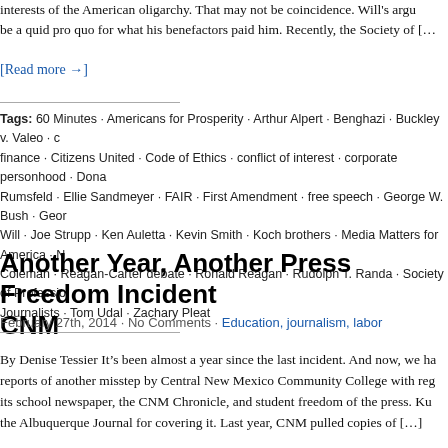interests of the American oligarchy. That may not be coincidence. Will's argument may be a quid pro quo for what his benefactors paid him. Recently, the Society of […
[Read more →]
Tags: 60 Minutes · Americans for Prosperity · Arthur Alpert · Benghazi · Buckley v. Valeo · campaign finance · Citizens United · Code of Ethics · conflict of interest · corporate personhood · Donald Rumsfeld · Ellie Sandmeyer · FAIR · First Amendment · free speech · George W. Bush · George Will · Joe Strupp · Ken Auletta · Kevin Smith · Koch brothers · Media Matters for America · Nick Coleman · Reagan-Carter debate · Ronald Reagan · Rudolph T. Randa · Society of Professional Journalists · Tom Udal · Zachary Pleat
Another Year, Another Press Freedom Incident at CNM
February 27th, 2014 · No Comments · Education, journalism, labor
By Denise Tessier It's been almost a year since the last incident. And now, we have reports of another misstep by Central New Mexico Community College with regard to its school newspaper, the CNM Chronicle, and student freedom of the press. Kudos to the Albuquerque Journal for covering it. Last year, CNM pulled copies of […]